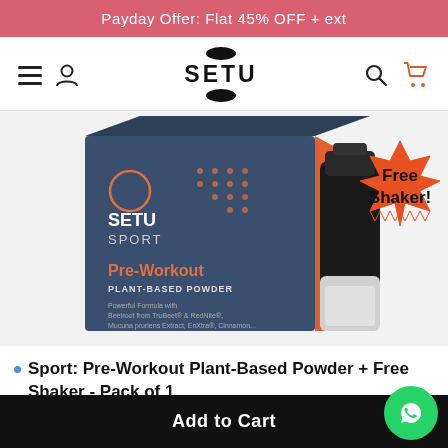Payday Offer: Flat 45% OFF + ext
[Figure (logo): SETU brand logo with hamburger menu, user icon, search icon, and cart icon in navigation bar]
[Figure (photo): Setu Sport Pre-Workout Plant-Based Powder product box (dark blue and orange) with a black shaker bottle and a starburst badge reading 'Free Shaker!']
Sport: Pre-Workout Plant-Based Powder + Free Shaker - Pack of 1
Add to Cart